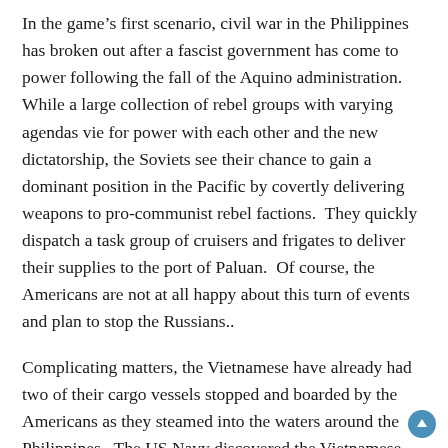In the game's first scenario, civil war in the Philippines has broken out after a fascist government has come to power following the fall of the Aquino administration.  While a large collection of rebel groups with varying agendas vie for power with each other and the new dictatorship, the Soviets see their chance to gain a dominant position in the Pacific by covertly delivering weapons to pro-communist rebel factions.  They quickly dispatch a task group of cruisers and frigates to deliver their supplies to the port of Paluan.  Of course, the Americans are not at all happy about this turn of events and plan to stop the Russians..
Complicating matters, the Vietnamese have already had two of their cargo vessels stopped and boarded by the Americans as they steamed into the waters around the Philippines.  The US Navy discovered the Vietnamese ships were